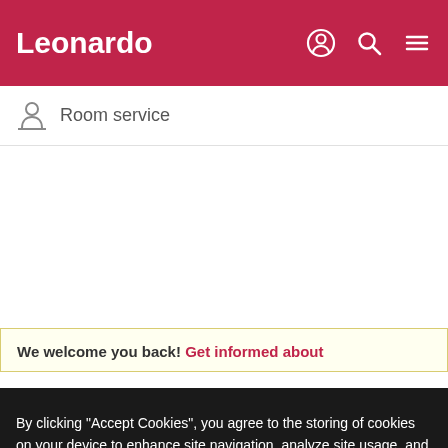Leonardo
Room service
We welcome you back! Get informed about
By clicking "Accept Cookies", you agree to the storing of cookies on your device to enhance site navigation, analyze site usage, and assist in our marketing efforts. Privacy Notice & Cookie Policy
Cookies Settings
Reject All
Accept All Cookies